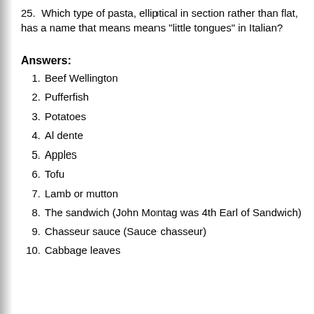25. Which type of pasta, elliptical in section rather than flat, has a name that means means "little tongues" in Italian?
Answers:
1. Beef Wellington
2. Pufferfish
3. Potatoes
4. Al dente
5. Apples
6. Tofu
7. Lamb or mutton
8. The sandwich (John Montag was 4th Earl of Sandwich)
9. Chasseur sauce (Sauce chasseur)
10. Cabbage leaves